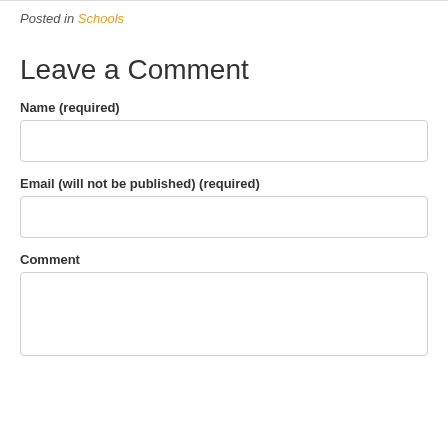Posted in Schools
Leave a Comment
Name (required)
Email (will not be published) (required)
Comment